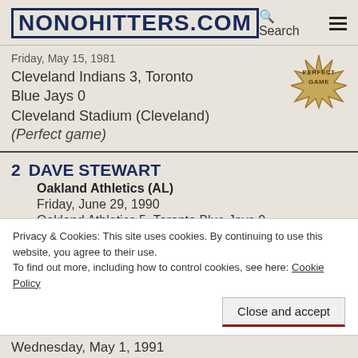NONOHITTERS.COM | Search | Menu
Friday, May 15, 1981
Cleveland Indians 3, Toronto Blue Jays 0
Cleveland Stadium (Cleveland)
(Perfect game)
2  DAVE STEWART
Oakland Athletics (AL)
Friday, June 29, 1990
Oakland Athletics 5, Toronto Blue Jays 0
Sky Dome (Toronto)
Privacy & Cookies: This site uses cookies. By continuing to use this website, you agree to their use.
To find out more, including how to control cookies, see here: Cookie Policy
Wednesday, May 1, 1991